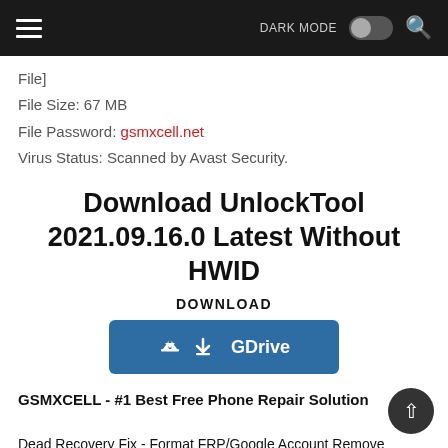DARK MODE [toggle] [search]
File]
File Size: 67 MB
File Password: gsmxcell.net
Virus Status: Scanned by Avast Security.
Download UnlockTool 2021.09.16.0 Latest Without HWID
DOWNLOAD
[Figure (other): Blue download button labeled GDrive with a download arrow icon]
GSMXCELL - #1 Best Free Phone Repair Solution
Dead Recovery Fix - Format FRP/Google Account Remove